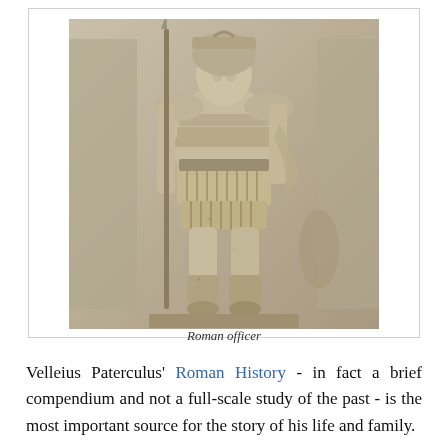[Figure (photo): Marble relief sculpture of a Roman officer in military attire, holding a spear and wearing segmented armor, standing in a frontal pose]
Roman officer
Velleius Paterculus' Roman History - in fact a brief compendium and not a full-scale study of the past - is the most important source for the story of his life and family.